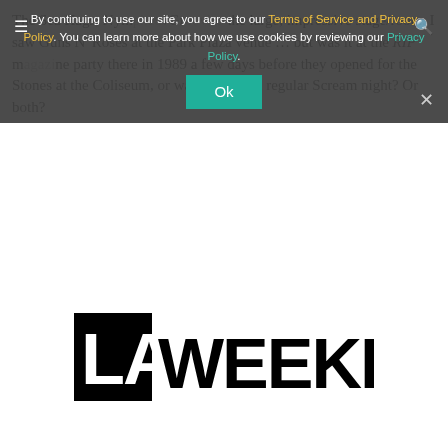The Sea Hags, Nymp... the large, impressive stage/room. I saw Guns N' Roses at the Park Plaza venue … but was it at the RIP magazine party there in 1989 a few days before they opened for the Stones at the Coliseum, or was it during a regular Scream night? Or both?
By continuing to use our site, you agree to our Terms of Service and Privacy Policy. You can learn more about how we use cookies by reviewing our Privacy Policy.
[Figure (logo): LA Weekly logo in large bold black text on white background]